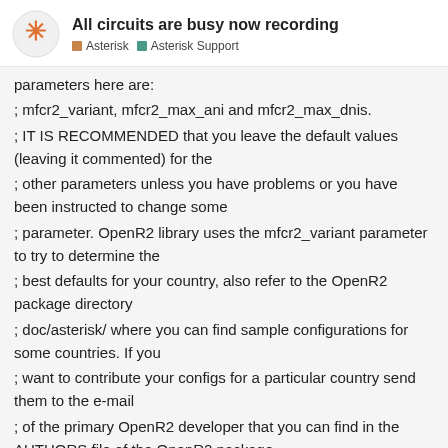All circuits are busy now recording — Asterisk | Asterisk Support
parameters here are:
; mfcr2_variant, mfcr2_max_ani and mfcr2_max_dnis.
; IT IS RECOMMENDED that you leave the default values (leaving it commented) for the
; other parameters unless you have problems or you have been instructed to change some
; parameter. OpenR2 library uses the mfcr2_variant parameter to try to determine the
; best defaults for your country, also refer to the OpenR2 package directory
; doc/asterisk/ where you can find sample configurations for some countries. If you
; want to contribute your configs for a particular country send them to the e-mail
; of the primary OpenR2 developer that you can find in the AUTHORS file of the OpenR2 package

; MFC/R2 variant. This depends on the OpenR2 supported variants
; A list of values can be found by executing
6 / 14